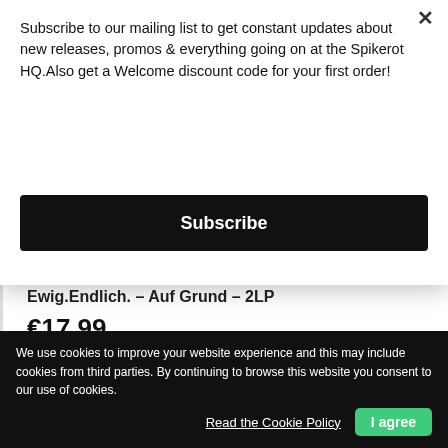Subscribe to our mailing list to get constant updates about new releases, promos & everything going on at the Spikerot HQ.Also get a Welcome discount code for your first order!
Subscribe
Ewig.Endlich. — Auf Grund — 2LP
€17.99
Quantity
ADD TO CART
Last items in stock
We use cookies to improve your website experience and this may include cookies from third parties. By continuing to browse this website you consent to our use of cookies.
Read the Cookie Policy
I agree